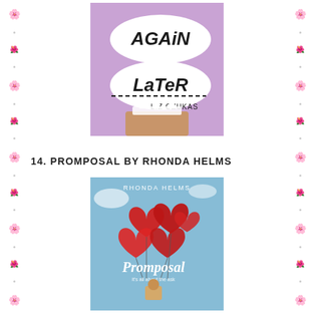[Figure (illustration): Book cover for 'Again Later' by Liz Czukas. Purple/lavender background with speech bubbles containing handwritten-style text 'Again Later'. Below the text is a tiara/crown and a partial face. Author name 'LIZ CZUKAS' at bottom.]
14. PROMPOSAL BY RHONDA HELMS
[Figure (illustration): Book cover for 'Promposal' by Rhonda Helms. Blue sky background with large red heart-shaped foil balloons clustered together. The title 'Promposal' is written in white/light script text. Author name 'RHONDA HELMS' at top. Subtitle 'it's all about the ask' visible below title.]